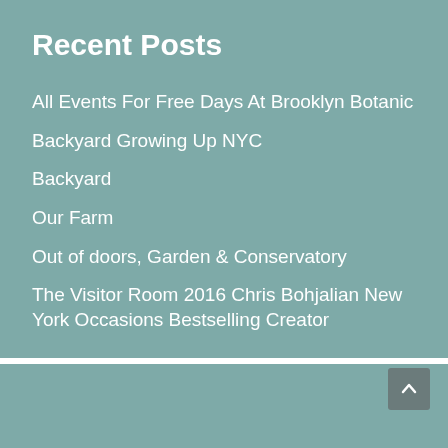Recent Posts
All Events For Free Days At Brooklyn Botanic
Backyard Growing Up NYC
Backyard
Our Farm
Out of doors, Garden & Conservatory
The Visitor Room 2016 Chris Bohjalian New York Occasions Bestselling Creator
About Us